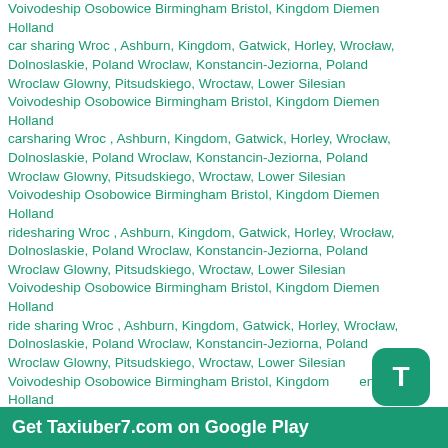Voivodeship Osobowice Birmingham Bristol, Kingdom Diemen Holland
car sharing Wroc , Ashburn, Kingdom, Gatwick, Horley, Wrocław, Dolnoslaskie, Poland Wroclaw, Konstancin-Jeziorna, Poland Wroclaw Glowny, Pitsudskiego, Wroctaw, Lower Silesian Voivodeship Osobowice Birmingham Bristol, Kingdom Diemen Holland
carsharing Wroc , Ashburn, Kingdom, Gatwick, Horley, Wrocław, Dolnoslaskie, Poland Wroclaw, Konstancin-Jeziorna, Poland Wroclaw Glowny, Pitsudskiego, Wroctaw, Lower Silesian Voivodeship Osobowice Birmingham Bristol, Kingdom Diemen Holland
ridesharing Wroc , Ashburn, Kingdom, Gatwick, Horley, Wrocław, Dolnoslaskie, Poland Wroclaw, Konstancin-Jeziorna, Poland Wroclaw Glowny, Pitsudskiego, Wroctaw, Lower Silesian Voivodeship Osobowice Birmingham Bristol, Kingdom Diemen Holland
ride sharing Wroc , Ashburn, Kingdom, Gatwick, Horley, Wrocław, Dolnoslaskie, Poland Wroclaw, Konstancin-Jeziorna, Poland Wroclaw Glowny, Pitsudskiego, Wroctaw, Lower Silesian Voivodeship Osobowice Birmingham Bristol, Kingdom Diemen Holland
rideshare Wroc , Ashburn, Kingdom, Gatwick, Horley, Wrocław, Dolnoslaskie, Poland Wroclaw, Konstancin-Jeziorna, Poland Wroclaw Glowny, Pitsudskiego, Wroctaw, Lower Silesian
Get Taxiuber7.com on Google Play